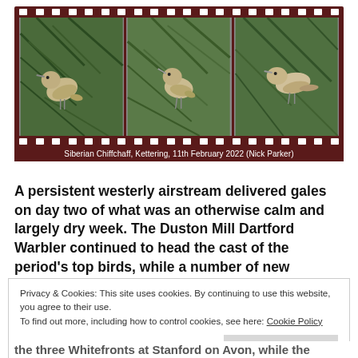[Figure (photo): Film strip style composite image showing three photos of a Siberian Chiffchaff perched on pine branches. Caption reads: Siberian Chiffchaff, Kettering, 11th February 2022 (Nick Parker)]
Siberian Chiffchaff, Kettering, 11th February 2022 (Nick Parker)
A persistent westerly airstream delivered gales on day two of what was an otherwise calm and largely dry week. The Duston Mill Dartford Warbler continued to head the cast of the period's top birds, while a number of new discoveries were added to this week's mix.
Privacy & Cookies: This site uses cookies. By continuing to use this website, you agree to their use.
To find out more, including how to control cookies, see here: Cookie Policy
Close and accept
the three Whitefronts at Stanford on Avon, while the